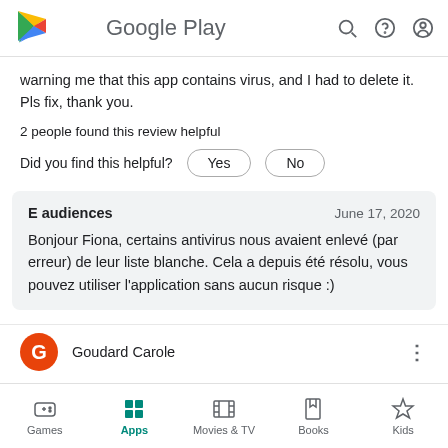Google Play
warning me that this app contains virus, and I had to delete it. Pls fix, thank you.
2 people found this review helpful
Did you find this helpful?  Yes  No
E audiences  June 17, 2020
Bonjour Fiona, certains antivirus nous avaient enlevé (par erreur) de leur liste blanche. Cela a depuis été résolu, vous pouvez utiliser l'application sans aucun risque :)
Goudard Carole
Games  Apps  Movies & TV  Books  Kids